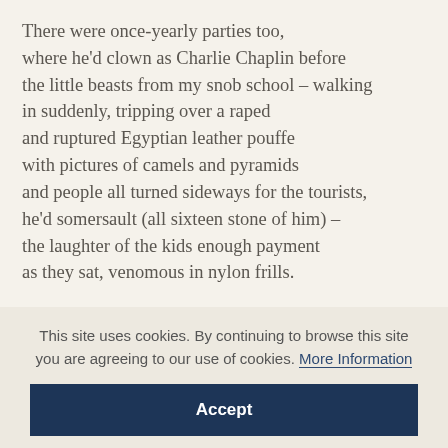There were once-yearly parties too, where he'd clown as Charlie Chaplin before the little beasts from my snob school – walking in suddenly, tripping over a raped and ruptured Egyptian leather pouffe with pictures of camels and pyramids and people all turned sideways for the tourists, he'd somersault (all sixteen stone of him) – the laughter of the kids enough payment as they sat, venomous in nylon frills.
This site uses cookies. By continuing to browse this site you are agreeing to our use of cookies. More Information
Accept